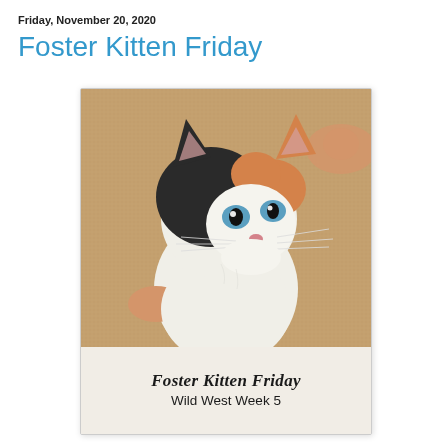Friday, November 20, 2020
Foster Kitten Friday
[Figure (photo): A young calico kitten with black, orange, and white markings, blue eyes, looking upward against a tan/beige carpet background. Below the photo is an overlaid text band reading 'Foster Kitten Friday / Wild West Week 5']
Foster Kitten Friday
Wild West Week 5